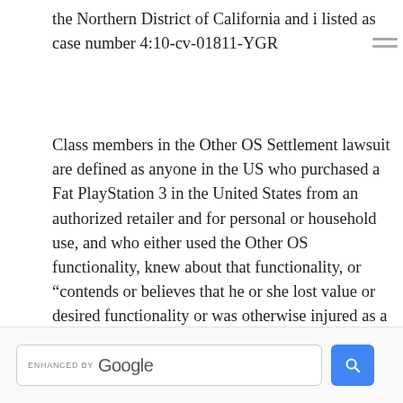the Northern District of California and i listed as case number 4:10-cv-01811-YGR
Class members in the Other OS Settlement lawsuit are defined as anyone in the US who purchased a Fat PlayStation 3 in the United States from an authorized retailer and for personal or household use, and who either used the Other OS functionality, knew about that functionality, or "contends or believes that he or she lost value or desired functionality or was otherwise injured as a consequence of Firmware Update 3.21 and/or the disablement of Other OS functionality in the Fat PS3 between 11/1/06 to 4/1/10 according to the class action lawsuit OtherOSsettlement.com admin page.